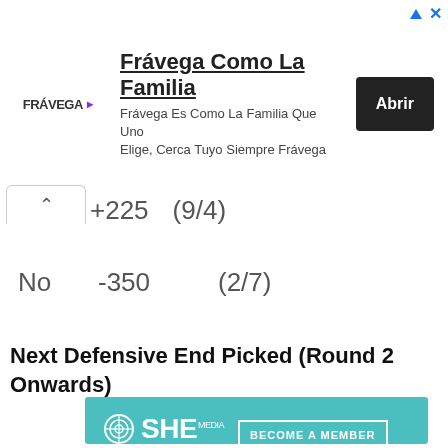[Figure (screenshot): Frávega advertisement banner with logo, headline 'Frávega Como La Familia', subtext, and 'Abrir' button]
+225   (9/4)
No   -350   (2/7)
Next Defensive End Picked (Round 2 Onwards)
[Figure (screenshot): SHE Media Partner Network advertisement with 'Become a Member' button and 'Earning site & social revenue' text]